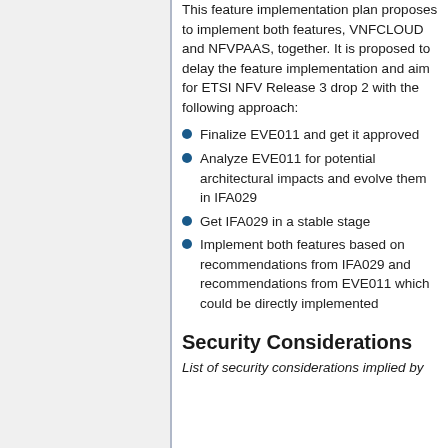This feature implementation plan proposes to implement both features, VNFCLOUD and NFVPAAS, together. It is proposed to delay the feature implementation and aim for ETSI NFV Release 3 drop 2 with the following approach:
Finalize EVE011 and get it approved
Analyze EVE011 for potential architectural impacts and evolve them in IFA029
Get IFA029 in a stable stage
Implement both features based on recommendations from IFA029 and recommendations from EVE011 which could be directly implemented
Security Considerations
List of security considerations implied by